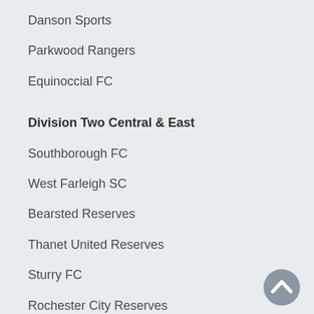Danson Sports
Parkwood Rangers
Equinoccial FC
Division Two Central & East
Southborough FC
West Farleigh SC
Bearsted Reserves
Thanet United Reserves
Sturry FC
Rochester City Reserves
Tenterden Town